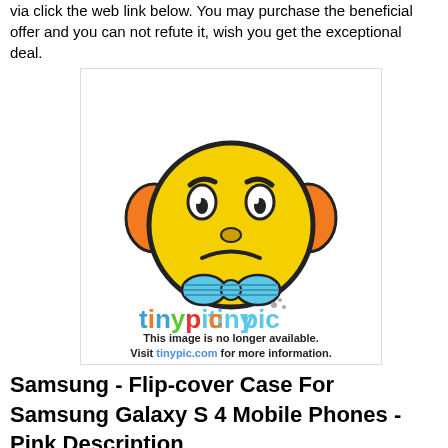via click the web link below. You may purchase the beneficial offer and you can not refute it, wish you get the exceptional deal.
[Figure (illustration): Tinypic placeholder image showing an angry yellow emoji face with orange headphones and a blue bow tie, with text reading 'This image is no longer available. Visit tinypic.com for more information.']
Samsung - Flip-cover Case For Samsung Galaxy S 4 Mobile Phones - Pink Description